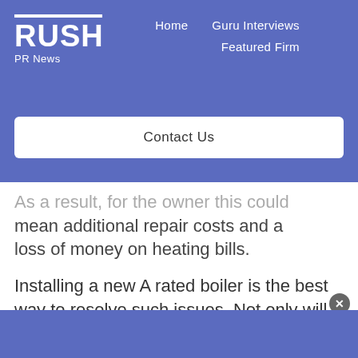RUSH PR News — Home | Guru Interviews | Featured Firm | Contact Us
As a result, for the owner this could mean additional repair costs and a loss of money on heating bills.
Installing a new A rated boiler is the best way to resolve such issues. Not only will the efficiency ratings help you save on your heating bills, but it will also cut your CO2 emissions.